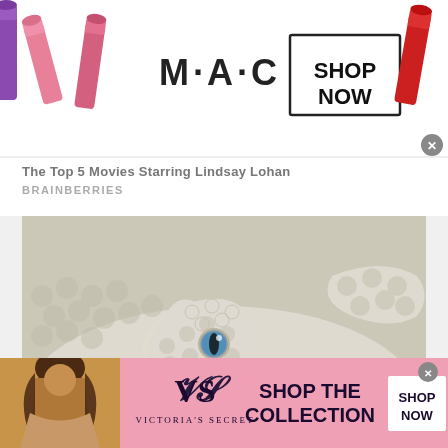[Figure (screenshot): MAC cosmetics advertisement banner with lipsticks on left, MAC logo in center, and 'SHOP NOW' button in bordered box on right with red lipstick]
The Top 5 Movies Starring Lindsay Lohan
BRAINBERRIES
[Figure (photo): Close-up photograph of a white/albino snake with blue eye and pink-red mouth markings, coiled on itself showing detailed scales]
[Figure (screenshot): Victoria's Secret advertisement with woman model on left, VS logo and Victoria's Secret text in center, 'SHOP THE COLLECTION' text and 'SHOP NOW' white button on right, pink background]